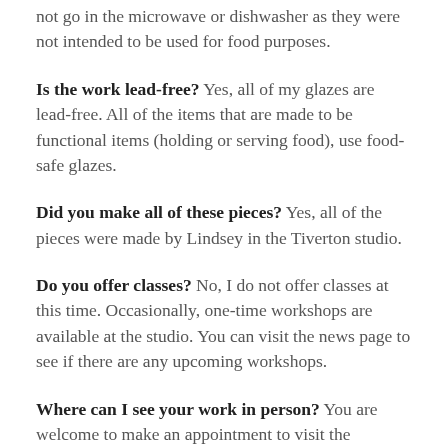not go in the microwave or dishwasher as they were not intended to be used for food purposes.
Is the work lead-free? Yes, all of my glazes are lead-free. All of the items that are made to be functional items (holding or serving food), use food-safe glazes.
Did you make all of these pieces? Yes, all of the pieces were made by Lindsey in the Tiverton studio.
Do you offer classes? No, I do not offer classes at this time. Occasionally, one-time workshops are available at the studio. You can visit the news page to see if there are any upcoming workshops.
Where can I see your work in person? You are welcome to make an appointment to visit the